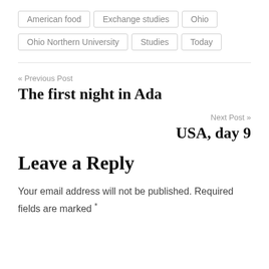American food
Exchange studies
Ohio
Ohio Northern University
Studies
Today
« Previous Post
The first night in Ada
Next Post »
USA, day 9
Leave a Reply
Your email address will not be published. Required fields are marked *